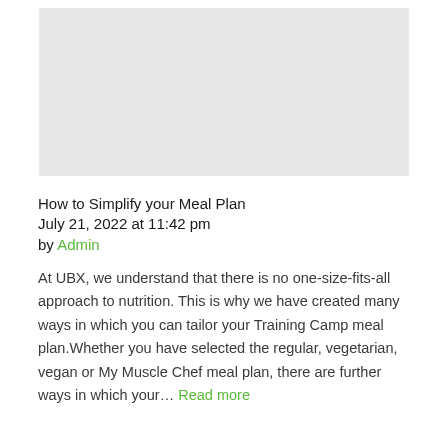[Figure (photo): Gray placeholder image rectangle at the top of the page]
How to Simplify your Meal Plan
July 21, 2022 at 11:42 pm
by Admin
At UBX, we understand that there is no one-size-fits-all approach to nutrition. This is why we have created many ways in which you can tailor your Training Camp meal plan.Whether you have selected the regular, vegetarian, vegan or My Muscle Chef meal plan, there are further ways in which your… Read more